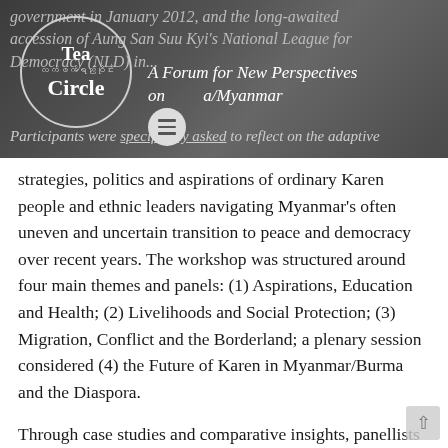government in January 2012, and the long-awaited accession of Aung San Suu Kyi's National League for Democracy (NLD) in... A Forum for New Perspectives on Burma/Myanmar
Participants were specifically asked to reflect on the adaptive strategies, politics and aspirations of ordinary Karen people and ethnic leaders navigating Myanmar's often uneven and uncertain transition to peace and democracy over recent years. The workshop was structured around four main themes and panels: (1) Aspirations, Education and Health; (2) Livelihoods and Social Protection; (3) Migration, Conflict and the Borderland; a plenary session considered (4) the Future of Karen in Myanmar/Burma and the Diaspora.
Through case studies and comparative insights, panellists highlighted the range and resilience of Karen institutions and organisation whilst considering the nature of existing challenges and...